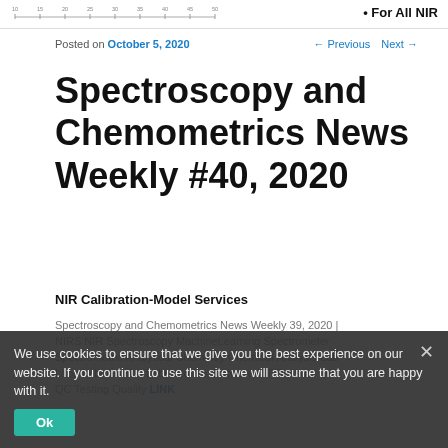[Figure (continuous-plot): Partial view of a spectroscopy chart/graph at the top of the page, showing x-axis tick marks]
• For All NIR
Posted on October 5, 2020
← Previous   Next →
Spectroscopy and Chemometrics News Weekly #40, 2020
NIR Calibration-Model Services
Spectroscopy and Chemometrics News Weekly 39, 2020 | NIRS NIR Spectroscopy MachineLearning Spectrometer Spectrometric Analytical Chemistry Chemical Analysis Lab Labs Laboratories Laboratories Software IoT Sensors QA QC Testing Quality LINK
We use cookies to ensure that we give you the best experience on our website. If you continue to use this site we will assume that you are happy with it.